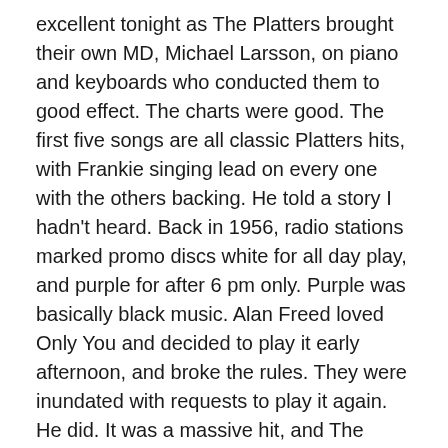excellent tonight as The Platters brought their own MD, Michael Larsson, on piano and keyboards who conducted them to good effect. The charts were good. The first five songs are all classic Platters hits, with Frankie singing lead on every one with the others backing. He told a story I hadn't heard. Back in 1956, radio stations marked promo discs white for all day play, and purple for after 6 pm only. Purple was basically black music. Alan Freed loved Only You and decided to play it early afternoon, and broke the rules. They were inundated with requests to play it again. He did. It was a massive hit, and The Platters were on their way, and the rule was abandoned.
They switched vocalists for The Drifters' Save Te Last Dance For Me, well taken, then it was just Frankie solo plus piano from his MD for Ebb Tide. A further vocalist switch took us into an audience participation wave your...